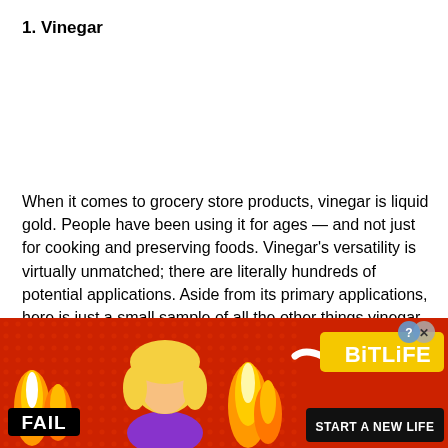1. Vinegar
When it comes to grocery store products, vinegar is liquid gold. People have been using it for ages — and not just for cooking and preserving foods. Vinegar's versatility is virtually unmatched; there are literally hundreds of potential applications. Aside from its primary applications, here is just a small sample of all the other things vinegar can be used for:
[Figure (illustration): Advertisement banner for BitLife game with red background, cartoon character facepalming, flames, FAIL text badge, BitLife logo in yellow, and 'START A NEW LIFE' text on black bar. Close button visible top right.]